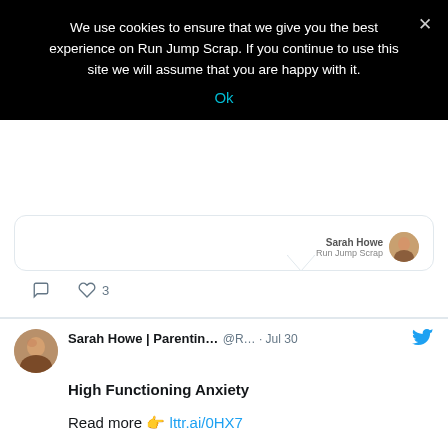We use cookies to ensure that we give you the best experience on Run Jump Scrap. If you continue to use this site we will assume that you are happy with it.
Ok
[Figure (screenshot): Partial tweet card showing Sarah Howe / Run Jump Scrap profile with speech bubble tail]
3
Sarah Howe | Parentin... @R... · Jul 30
High Functioning Anxiety

Read more 👉 lttr.ai/0HX7

#HighFunctioningAnxiety
[Figure (screenshot): Partial tweet card showing 'Coping with High' text at bottom]